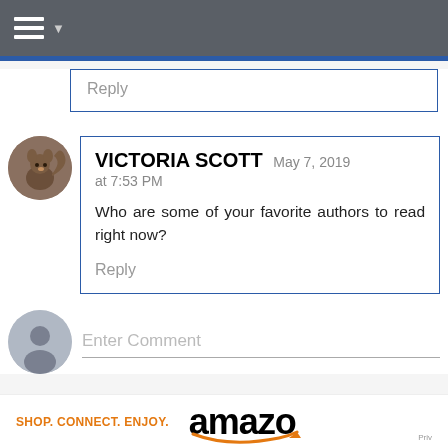[Figure (screenshot): Navigation bar with hamburger menu icon and dropdown arrow on dark grey background]
Reply
[Figure (photo): Circular avatar of a squirrel]
VICTORIA SCOTT May 7, 2019 at 7:53 PM
Who are some of your favorite authors to read right now?
Reply
Enter Comment
[Figure (logo): Amazon logo with orange smile arrow and text: SHOP. CONNECT. ENJOY. amazo Priv]